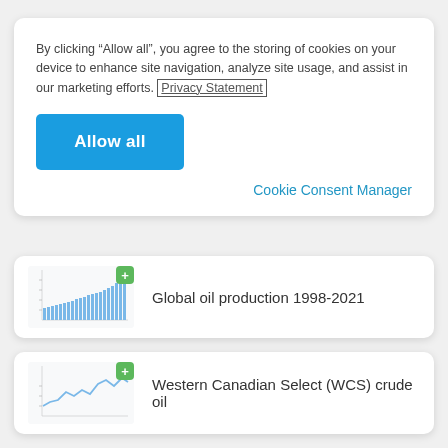By clicking “Allow all”, you agree to the storing of cookies on your device to enhance site navigation, analyze site usage, and assist in our marketing efforts. Privacy Statement
Allow all
Cookie Consent Manager
[Figure (screenshot): Thumbnail of a bar chart showing global oil production data with a green plus badge]
Global oil production 1998-2021
[Figure (screenshot): Thumbnail of a line chart for Western Canadian Select crude oil data with a green plus badge]
Western Canadian Select (WCS) crude oil